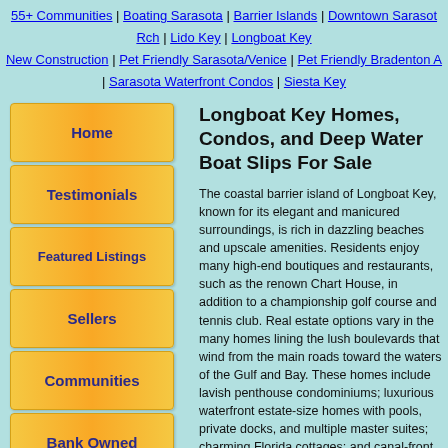55+ Communities | Boating Sarasota | Barrier Islands | Downtown Sarasota Rch | Lido Key | Longboat Key | New Construction | Pet Friendly Sarasota/Venice | Pet Friendly Bradenton Area | Sarasota Waterfront Condos | Siesta Key
[Figure (screenshot): Navigation sidebar with orange gradient buttons: Home, Testimonials, Featured Listings, Sellers, Communities, Bank Owned]
Longboat Key Homes, Condos, and Deep Water Boat Slips For Sale
The coastal barrier island of Longboat Key, known for its elegant and manicured surroundings, is rich in dazzling beaches and upscale amenities. Residents enjoy many high-end boutiques and restaurants, such as the renown Chart House, in addition to a championship golf course and tennis club. Real estate options vary in the many homes lining the lush boulevards that wind from the main roads toward the waters of the Gulf and Bay. These homes include lavish penthouse condominiums; luxurious waterfront estate-size homes with pools, private docks, and multiple master suites; charming Florida cottages; and canal-front single-family homes